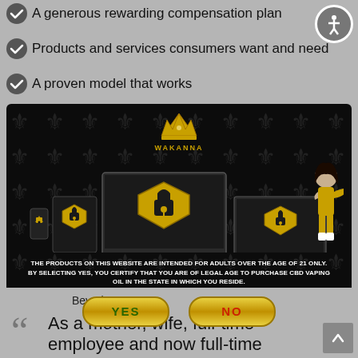A generous rewarding compensation plan
Products and services consumers want and need
A proven model that works
[Figure (screenshot): Wakanna website age verification modal popup on dark background with crown logo, devices showing security lock shields, YES and NO buttons, and a character in yellow outfit. Legal text: THE PRODUCTS ON THIS WEBSITE ARE INTENDED FOR ADULTS OVER THE AGE OF 21 ONLY. BY SELECTING YES, YOU CERTIFY THAT YOU ARE OF LEGAL AGE TO PURCHASE CBD VAPING OIL IN THE STATE IN WHICH YOU RESIDE.]
Beverley B.
As a mother, wife, full-time employee and now full-time